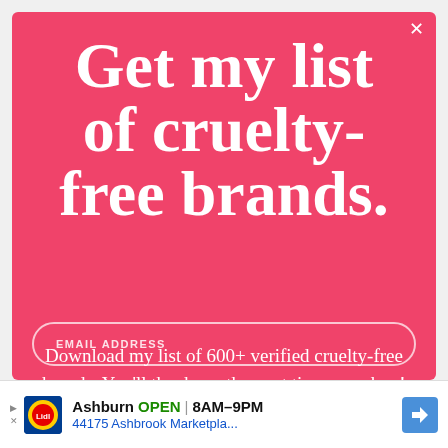Get my list of cruelty-free brands.
Download my list of 600+ verified cruelty-free brands. You'll thank me the next time you shop!
EMAIL ADDRESS
[Figure (infographic): Advertisement bar: Lidl store - Ashburn OPEN 8AM–9PM, 44175 Ashbrook Marketpla...]